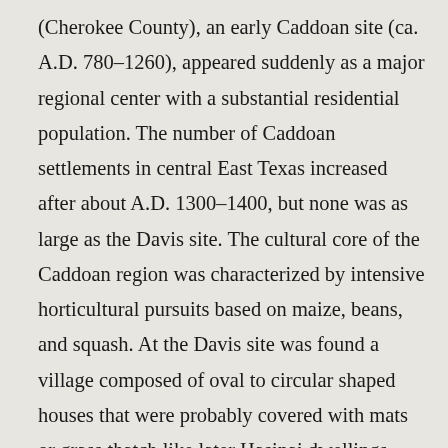(Cherokee County), an early Caddoan site (ca. A.D. 780–1260), appeared suddenly as a major regional center with a substantial residential population. The number of Caddoan settlements in central East Texas increased after about A.D. 1300–1400, but none was as large as the Davis site. The cultural core of the Caddoan region was characterized by intensive horticultural pursuits based on maize, beans, and squash. At the Davis site was found a village composed of oval to circular shaped houses that were probably covered with mats or grass thatch like later Hasinai dwellings. The temple and interment mounds and the lack of them elsewhere indicate that this was a politico-religious ceremonial center that was accompanied by a hierarchy within the social system.